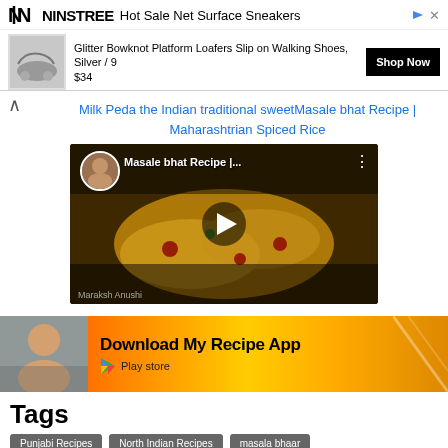[Figure (screenshot): NINSTREE advertisement banner for Hot Sale Net Surface Sneakers showing a shoe product (Glitter Bowknot Platform Loafers Slip on Walking Shoes, Silver / 9) priced at $34 with a Shop Now button]
Milk Peda the Indian traditional sweet
Masale bhat Recipe | Maharashtrian Spiced Rice
[Figure (screenshot): YouTube video thumbnail for Masale bhat Recipe showing a bowl of spiced rice with a play button overlay, avatar of a woman, and channel title]
[Figure (screenshot): Download My Recipe App banner with a woman's photo, orange/yellow gradient background, and Play store button]
Tags
Punjabi Recipes
North Indian Recipes
masala bhaar